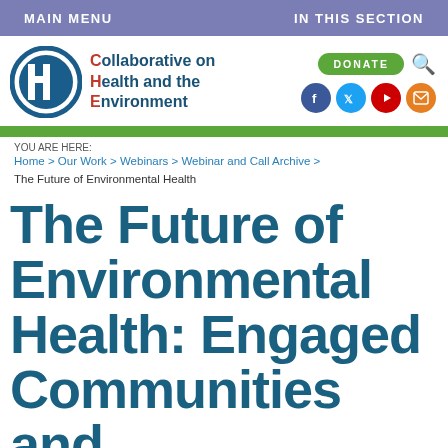MAIN MENU | IN THIS SECTION
[Figure (logo): Collaborative on Health and the Environment logo — a stylized 'CHE' monogram in a circle with blue border]
Collaborative on Health and the Environment
DONATE
YOU ARE HERE:
Home > Our Work > Webinars > Webinar and Call Archive > The Future of Environmental Health
The Future of Environmental Health: Engaged Communities and Strengthened